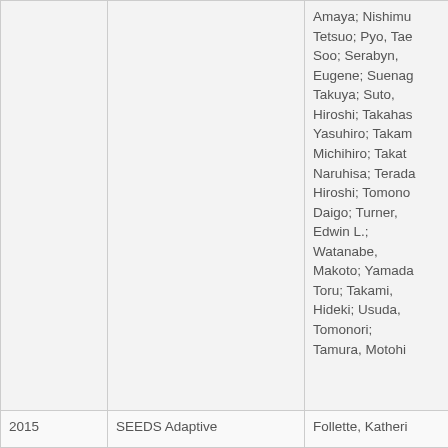| Year | Title | Authors |
| --- | --- | --- |
|  |  | Amaya; Nishimu... Tetsuo; Pyo, Tae... Soo; Serabyn, Eugene; Suenag... Takuya; Suto, Hiroshi; Takahas... Yasuhiro; Takam... Michihiro; Takat... Naruhisa; Terada... Hiroshi; Tomonc... Daigo; Turner, Edwin L.; Watanabe, Makoto; Yamada... Toru; Takami, Hideki; Usuda, Tomonori; Tamura, Motohi... |
| 2015 | SEEDS Adaptive | Follette, Katheri... |